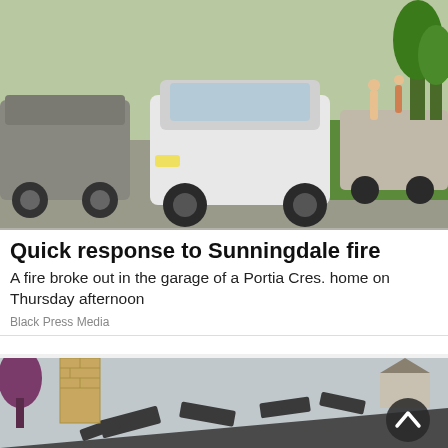[Figure (photo): Street scene with parked and moving cars including a white SUV (Toyota RAV4), residential neighborhood with green lawn and people in background]
Quick response to Sunningdale fire
A fire broke out in the garage of a Portia Cres. home on Thursday afternoon
Black Press Media
[Figure (photo): Damaged roof with shingles torn off and curling, brick chimney on left, trees and neighboring house visible in background, scroll-up button overlay in bottom right]